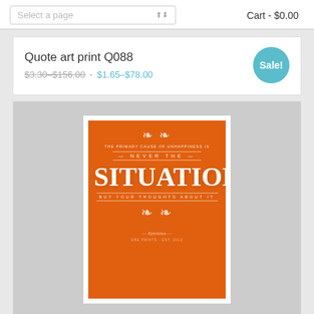Select a page   Cart - $0.00
Quote art print Q088
$3.30–$156.00 · $1.65–$78.00 Sale!
[Figure (photo): Orange motivational quote art print poster with ornamental design featuring the word SITUATION in large bold white letters, with text reading 'The primary cause of unhappiness is never the situation but your thoughts about it']
Quote art print Q087 Sale!